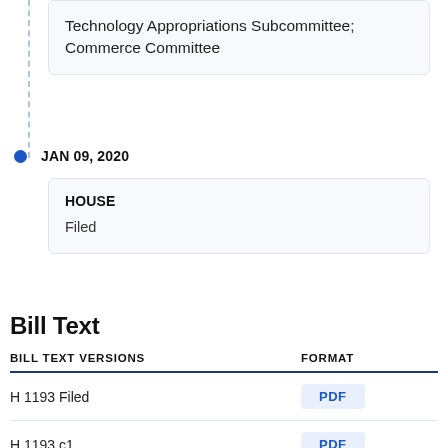Technology Appropriations Subcommittee; Commerce Committee
JAN 09, 2020
HOUSE
Filed
Bill Text
| BILL TEXT VERSIONS | FORMAT |
| --- | --- |
| H 1193 Filed | PDF |
| H 1193 c1 | PDF |